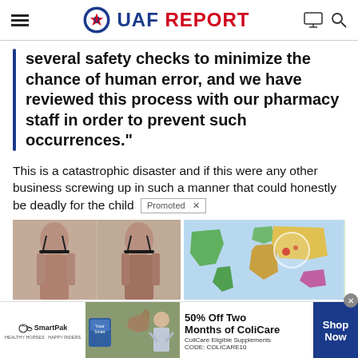UAF REPORT
several safety checks to minimize the chance of human error, and we have reviewed this process with our pharmacy staff in order to prevent such occurrences."
This is a catastrophic disaster and if this were any other business screwing up in such a manner that could honestly be deadly for the child
[Figure (photo): Before and after photos of a woman's back, side by side]
[Figure (map): Colorful world map with highlighted regions]
[Figure (infographic): SmartPak advertisement: 50% Off Two Months of ColiCare, ColiCare Eligible Supplements, CODE: COLICARE10, Shop Now button]